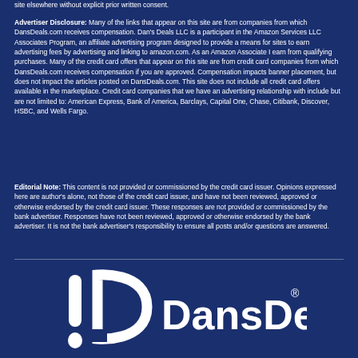site elsewhere without explicit prior written consent.
Advertiser Disclosure: Many of the links that appear on this site are from companies from which DansDeals.com receives compensation. Dan's Deals LLC is a participant in the Amazon Services LLC Associates Program, an affiliate advertising program designed to provide a means for sites to earn advertising fees by advertising and linking to amazon.com. As an Amazon Associate I earn from qualifying purchases. Many of the credit card offers that appear on this site are from credit card companies from which DansDeals.com receives compensation if you are approved. Compensation impacts banner placement, but does not impact the articles posted on DansDeals.com. This site does not include all credit card offers available in the marketplace. Credit card companies that we have an advertising relationship with include but are not limited to: American Express, Bank of America, Barclays, Capital One, Chase, Citibank, Discover, HSBC, and Wells Fargo.
Editorial Note: This content is not provided or commissioned by the credit card issuer. Opinions expressed here are author's alone, not those of the credit card issuer, and have not been reviewed, approved or otherwise endorsed by the credit card issuer. These responses are not provided or commissioned by the bank advertiser. Responses have not been reviewed, approved or otherwise endorsed by the bank advertiser. It is not the bank advertiser's responsibility to ensure all posts and/or questions are answered.
[Figure (logo): DansDeals logo: white exclamation mark and D-shaped bracket symbol followed by DansDeals text with registered trademark symbol]